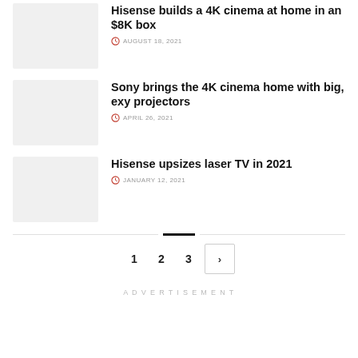Hisense builds a 4K cinema at home in an $8K box
AUGUST 18, 2021
Sony brings the 4K cinema home with big, exy projectors
APRIL 26, 2021
Hisense upsizes laser TV in 2021
JANUARY 12, 2021
ADVERTISEMENT